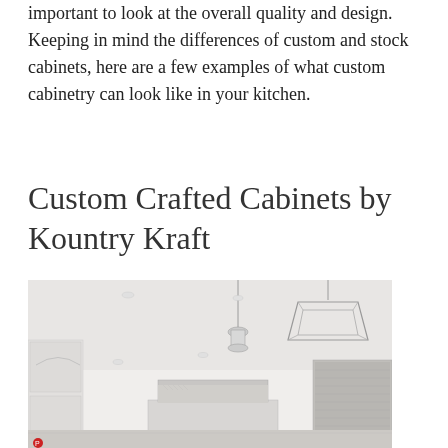important to look at the overall quality and design. Keeping in mind the differences of custom and stock cabinets, here are a few examples of what custom cabinetry can look like in your kitchen.
Custom Crafted Cabinets by Kountry Kraft
[Figure (photo): A bright white kitchen interior with white custom cabinetry, decorative pendant lights including a geometric lantern-style chandelier, and a kitchen island. The kitchen has recessed lighting and an arched built-in cabinet feature.]